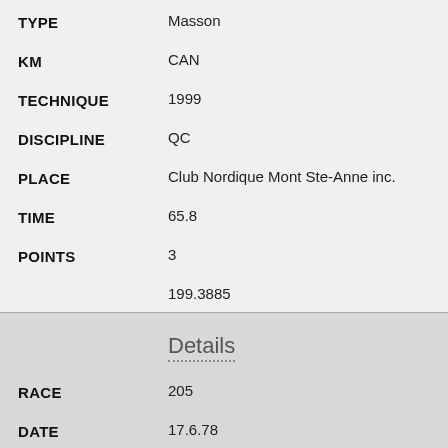TYPE: Masson
KM: CAN
TECHNIQUE: 1999
DISCIPLINE: QC
PLACE: Club Nordique Mont Ste-Anne inc.
TIME: 65.8
POINTS: 3
199.3885
Details
RACE: 205
DATE: 17.6.78